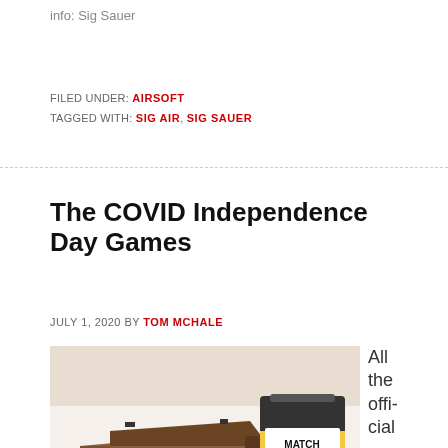info: Sig Sauer
FILED UNDER: AIRSOFT
TAGGED WITH: SIG AIR, SIG SAUER
The COVID Independence Day Games
JULY 1, 2020 BY TOM MCHALE
[Figure (photo): A tan/brown Sig Sauer airsoft pistol lying on a white surface next to a container of Match Grade BBs]
All the official